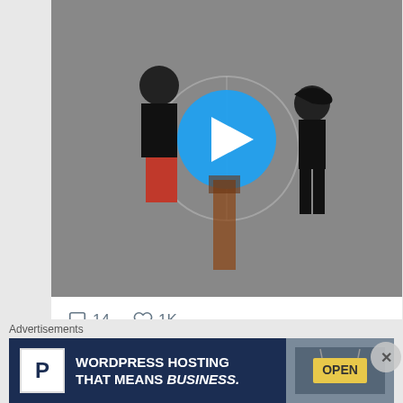[Figure (screenshot): Video thumbnail showing two basketball players on an outdoor court with a blue play button overlay]
14   1K
Coach's Climb Retweeted
Quntash...  @.. · Aug 17
🚨 Virginia Wesleyan University WBB is looking for an Assistant Coach 🚨
Advertisements
[Figure (screenshot): WordPress hosting advertisement banner reading WORDPRESS HOSTING THAT MEANS BUSINESS. with an OPEN sign image on the right]